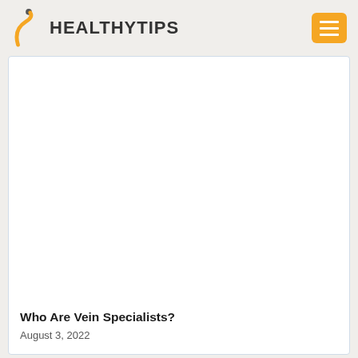HEALTHYTIPS
[Figure (photo): Article featured image placeholder — white/blank image area inside a card]
Who Are Vein Specialists?
August 3, 2022